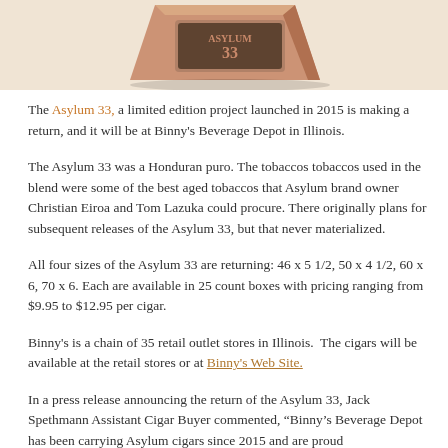[Figure (photo): Partial top view of the Asylum 33 cigar box, copper/brown colored packaging with black text, shown against a white background.]
The Asylum 33, a limited edition project launched in 2015 is making a return, and it will be at Binny's Beverage Depot in Illinois.
The Asylum 33 was a Honduran puro. The tobaccos tobaccos used in the blend were some of the best aged tobaccos that Asylum brand owner Christian Eiroa and Tom Lazuka could procure. There originally plans for subsequent releases of the Asylum 33, but that never materialized.
All four sizes of the Asylum 33 are returning: 46 x 5 1/2, 50 x 4 1/2, 60 x 6, 70 x 6. Each are available in 25 count boxes with pricing ranging from $9.95 to $12.95 per cigar.
Binny's is a chain of 35 retail outlet stores in Illinois.  The cigars will be available at the retail stores or at Binny's Web Site.
In a press release announcing the return of the Asylum 33, Jack Spethmann Assistant Cigar Buyer commented, “Binny’s Beverage Depot has been carrying Asylum cigars since 2015 and are proud to...